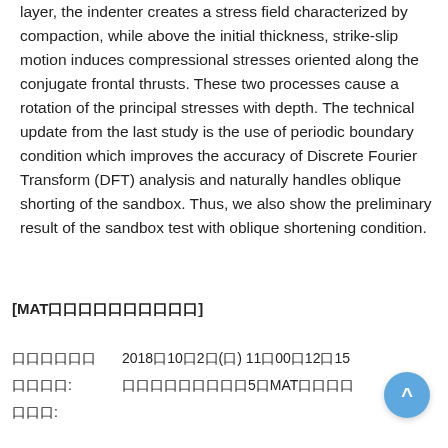layer, the indenter creates a stress field characterized by compaction, while above the initial thickness, strike-slip motion induces compressional stresses oriented along the conjugate frontal thrusts. These two processes cause a rotation of the principal stresses with depth. The technical update from the last study is the use of periodic boundary condition which improves the accuracy of Discrete Fourier Transform (DFT) analysis and naturally handles oblique shorting of the sandbox. Thus, we also show the preliminary result of the sandbox test with oblique shortening condition.
[MAT口口口口口口口口口口]
口口口口口口: 2018口10口2口(口) 11口00口12口15
口口口口: 口口口口口口口口口5口MAT口口口口
口口口: